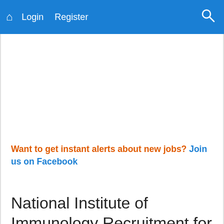Login  Register
Want to get instant alerts about new jobs? Join us on Facebook
National Institute of Immunology Recruitment for Senior Research Fell...